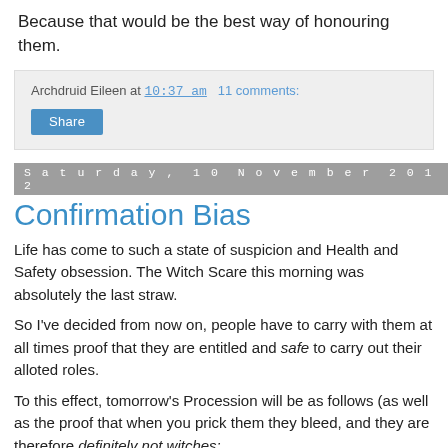Because that would be the best way of honouring them.
Archdruid Eileen at 10:37 am   11 comments:
Share
Saturday, 10 November 2012
Confirmation Bias
Life has come to such a state of suspicion and Health and Safety obsession. The Witch Scare this morning was absolutely the last straw.
So I've decided from now on, people have to carry with them at all times proof that they are entitled and safe to carry out their alloted roles.
To this effect, tomorrow's Procession will be as follows (as well as the proof that when you prick them they bleed, and they are therefore definitely not witches:
SUNDAY CLUB LEADERS: showing CRB certificate...